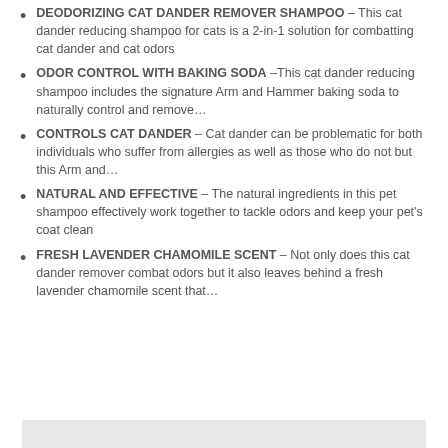DEODORIZING CAT DANDER REMOVER SHAMPOO – This cat dander reducing shampoo for cats is a 2-in-1 solution for combatting cat dander and cat odors
ODOR CONTROL WITH BAKING SODA –This cat dander reducing shampoo includes the signature Arm and Hammer baking soda to naturally control and remove…
CONTROLS CAT DANDER – Cat dander can be problematic for both individuals who suffer from allergies as well as those who do not but this Arm and…
NATURAL AND EFFECTIVE – The natural ingredients in this pet shampoo effectively work together to tackle odors and keep your pet's coat clean
FRESH LAVENDER CHAMOMILE SCENT – Not only does this cat dander remover combat odors but it also leaves behind a fresh lavender chamomile scent that…